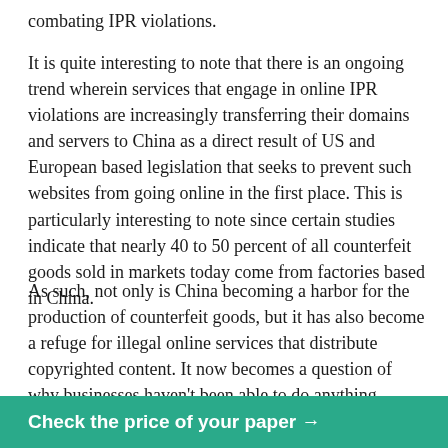combating IPR violations.
It is quite interesting to note that there is an ongoing trend wherein services that engage in online IPR violations are increasingly transferring their domains and servers to China as a direct result of US and European based legislation that seeks to prevent such websites from going online in the first place. This is particularly interesting to note since certain studies indicate that nearly 40 to 50 percent of all counterfeit goods sold in markets today come from factories based in China.
As such, not only is China becoming a harbor for the production of counterfeit goods, but it has also become a refuge for illegal online services that distribute copyrighted content. It now becomes a question of why businesses haven't been able to do anything regarding China's actions, which, in effect, cost them billions of
Check the price of your paper →